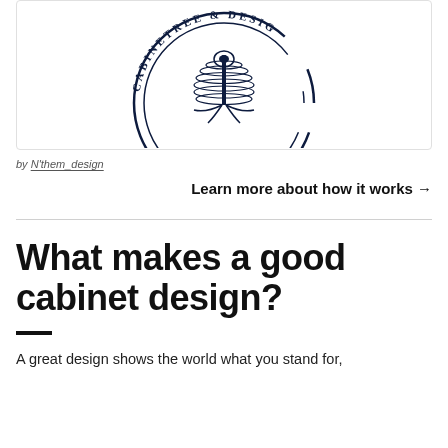[Figure (logo): Cabinetree & Design circular logo with tree/spine motif in dark navy, showing partial top arc of the logo]
by N'them_design
Learn more about how it works →
What makes a good cabinet design?
A great design shows the world what you stand for,